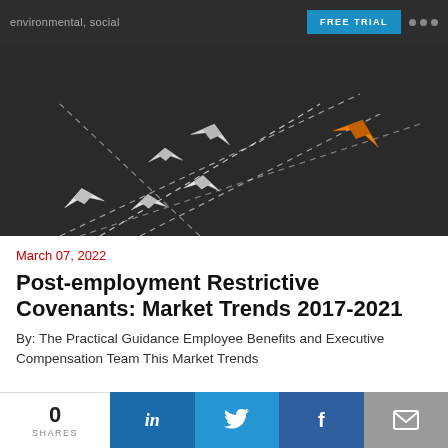environmental, social
[Figure (photo): Dark chalkboard background with white paper boat origami shapes arranged in a diverging pattern, and one orange/golden paper boat leading away from the group along dotted path lines]
March 07, 2022
Post-employment Restrictive Covenants: Market Trends 2017-2021
By: The Practical Guidance Employee Benefits and Executive Compensation Team This Market Trends
0 SHARES  in  (Twitter bird)  f  (email icon)